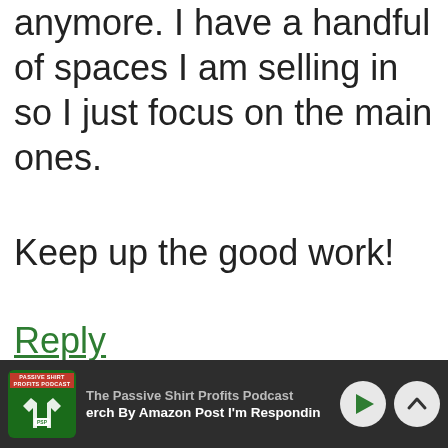anymore. I have a handful of spaces I am selling in so I just focus on the main ones.
Keep up the good work!
Reply
[Figure (screenshot): Bottom podcast player bar: The Passive Shirt Profits Podcast, episode 'Merch By Amazon Post I'm Respondin', with play and chevron-up controls]